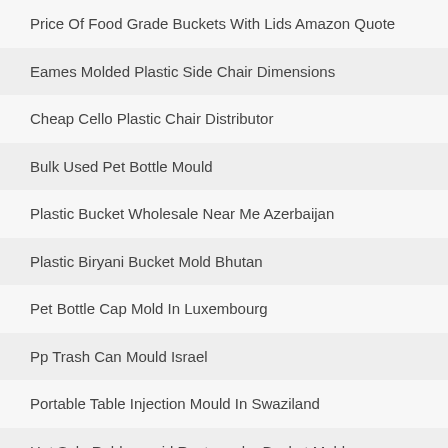Price Of Food Grade Buckets With Lids Amazon Quote
Eames Molded Plastic Side Chair Dimensions
Cheap Cello Plastic Chair Distributor
Bulk Used Pet Bottle Mould
Plastic Bucket Wholesale Near Me Azerbaijan
Plastic Biryani Bucket Mold Bhutan
Pet Bottle Cap Mold In Luxembourg
Pp Trash Can Mould Israel
Portable Table Injection Mould In Swaziland
Hot Sale Rubbermaid Rectangular Bucket Mold